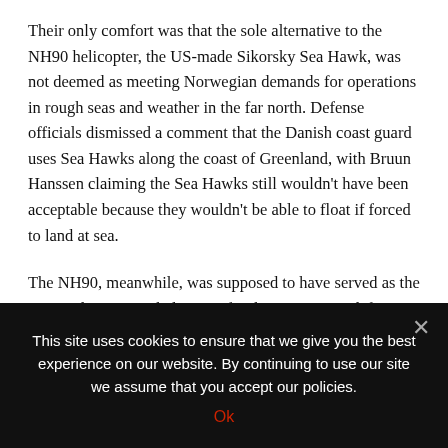Their only comfort was that the sole alternative to the NH90 helicopter, the US-made Sikorsky Sea Hawk, was not deemed as meeting Norwegian demands for operations in rough seas and weather in the far north. Defense officials dismissed a comment that the Danish coast guard uses Sea Hawks along the coast of Greenland, with Bruun Hanssen claiming the Sea Hawks still wouldn't have been acceptable because they wouldn't be able to float if forced to land at sea.
The NH90, meanwhile, was supposed to have served as the new multi-purpose helicopter for the Norwegian defense department. It was developed by four European countries and produced in Italy, but finally delivered with hundreds of flaws
This site uses cookies to ensure that we give you the best experience on our website. By continuing to use our site we assume that you accept our policies.
Ok